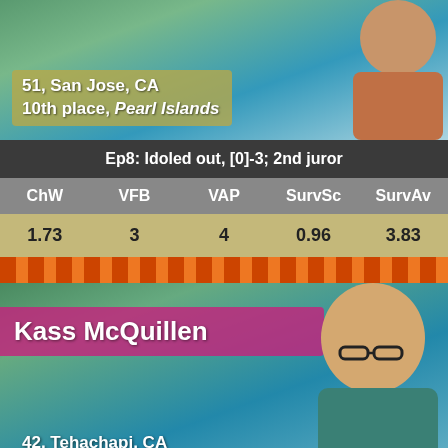[Figure (photo): Photo of male Survivor contestant, smiling, tropical background]
51, San Jose, CA
10th place, Pearl Islands
Ep8: Idoled out, [0]-3; 2nd juror
| ChW | VFB | VAP | SurvSc | SurvAv |
| --- | --- | --- | --- | --- |
| 1.73 | 3 | 4 | 0.96 | 3.83 |
[Figure (photo): Photo of Kass McQuillen, female Survivor contestant, smiling, wearing glasses, tropical background]
Kass McQuillen
42, Tehachapi, CA
3rd place, Cagayan
Ep7: Voted out, 6-4-2-1; 1st juror
| ChW | VFB | VAP | SurvSc | SurvAv |
| --- | --- | --- | --- | --- |